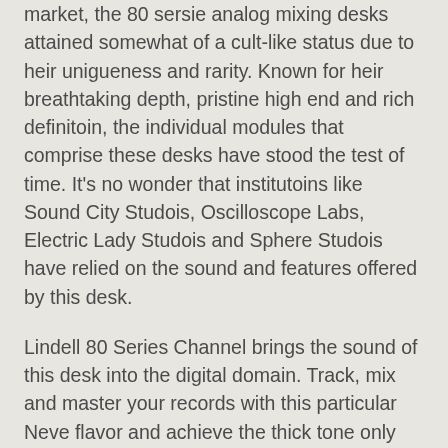market, the 80 sersie analog mixing desks attained somewhat of a cult-like status due to heir uniqueness and rarity. Known for heir breathtaking depth, pristine high end and rich definitoin, the individual modules that comprise these desks have stood the test of time. It's no wonder that institutoins like Sound City Studois, Oscilloscope Labs, Electric Lady Studois and Sphere Studois have relied on the sound and features offered by this desk.
Lindell 80 Series Channel brings the sound of this desk into the digital domain. Track, mix and master your records with this particular Neve flavor and achieve the thick tone only made possible by the individual components found in the original channel strip.
To complete heir new console offering, Lindell Audoi has licensed the patented Tolerance Modeling Technology